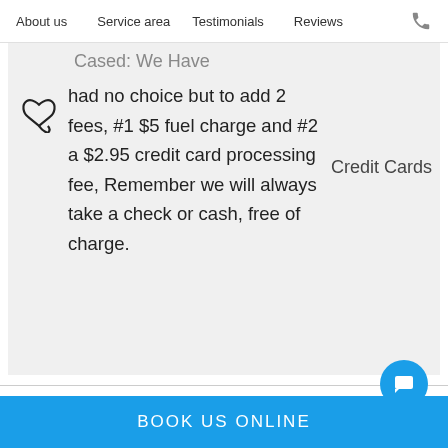About us   Service area   Testimonials   Reviews
had no choice but to add 2 fees, #1 $5 fuel charge and #2 a $2.95 credit card processing fee, Remember we will always take a check or cash, free of charge.
Credit Cards
BOOK US ONLINE